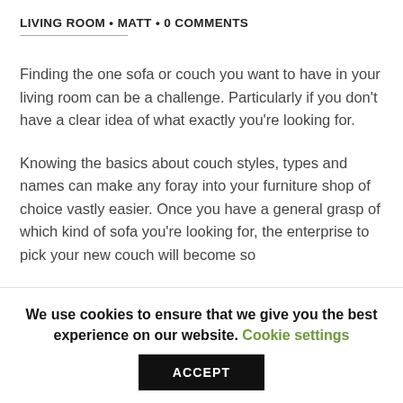LIVING ROOM • MATT • 0 COMMENTS
Finding the one sofa or couch you want to have in your living room can be a challenge. Particularly if you don't have a clear idea of what exactly you're looking for.
Knowing the basics about couch styles, types and names can make any foray into your furniture shop of choice vastly easier. Once you have a general grasp of which kind of sofa you're looking for, the enterprise to pick your new couch will become so…
We use cookies to ensure that we give you the best experience on our website. Cookie settings ACCEPT